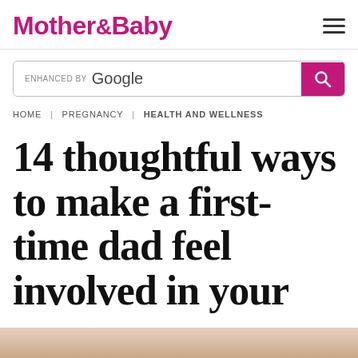Mother&Baby
[Figure (screenshot): Search bar with 'enhanced by Google' label and a pink search button with magnifying glass icon]
HOME | PREGNANCY | HEALTH AND WELLNESS
14 thoughtful ways to make a first-time dad feel involved in your pregnancy
[Figure (photo): Partial photo strip at bottom of page showing people, cropped]